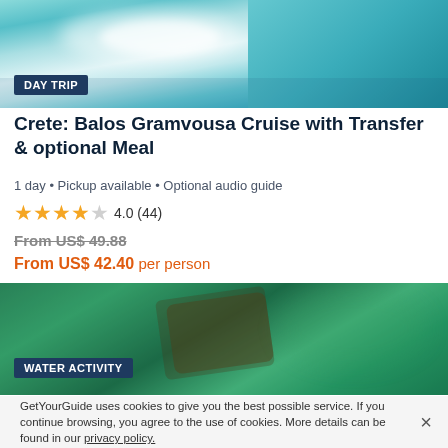[Figure (photo): Aerial view of turquoise water and white sandy beach/lagoon]
DAY TRIP
Crete: Balos Gramvousa Cruise with Transfer & optional Meal
1 day • Pickup available • Optional audio guide
★★★★☆ 4.0 (44)
From US$ 49.88
From US$ 42.40 per person
[Figure (photo): Aerial view of a shipwreck in green/teal water]
WATER ACTIVITY
GetYourGuide uses cookies to give you the best possible service. If you continue browsing, you agree to the use of cookies. More details can be found in our privacy policy.